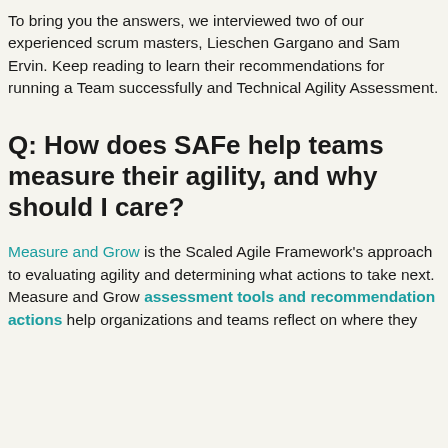To bring you the answers, we interviewed two of our experienced scrum masters, Lieschen Gargano and Sam Ervin. Keep reading to learn their recommendations for running a Team successfully and Technical Agility Assessment.
Q: How does SAFe help teams measure their agility, and why should I care?
Measure and Grow is the Scaled Agile Framework's approach to evaluating agility and determining what actions to take next. Measure and Grow assessment tools and recommendation actions help organizations and teams reflect on where they